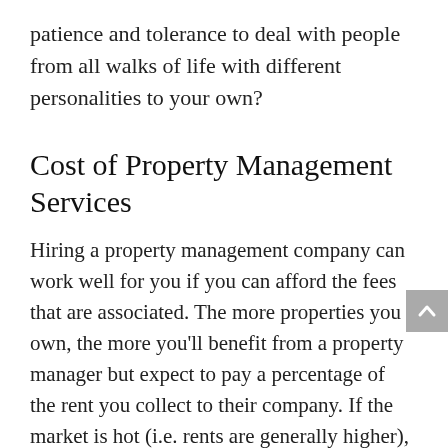patience and tolerance to deal with people from all walks of life with different personalities to your own?
Cost of Property Management Services
Hiring a property management company can work well for you if you can afford the fees that are associated. The more properties you own, the more you’ll benefit from a property manager but expect to pay a percentage of the rent you collect to their company. If the market is hot (i.e. rents are generally higher), this may be a good option for you. If the market is down, we can help you decide whether or not hiring a